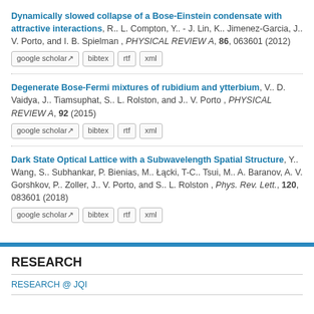Dynamically slowed collapse of a Bose-Einstein condensate with attractive interactions, R.. L. Compton, Y.. - J. Lin, K.. Jimenez-Garcia, J.. V. Porto, and I. B. Spielman , PHYSICAL REVIEW A, 86, 063601 (2012)
Degenerate Bose-Fermi mixtures of rubidium and ytterbium, V.. D. Vaidya, J.. Tiamsuphat, S.. L. Rolston, and J.. V. Porto , PHYSICAL REVIEW A, 92 (2015)
Dark State Optical Lattice with a Subwavelength Spatial Structure, Y.. Wang, S.. Subhankar, P. Bienias, M.. Łącki, T-C.. Tsui, M.. A. Baranov, A. V. Gorshkov, P.. Zoller, J.. V. Porto, and S.. L. Rolston , Phys. Rev. Lett., 120, 083601 (2018)
RESEARCH
RESEARCH @ JQI